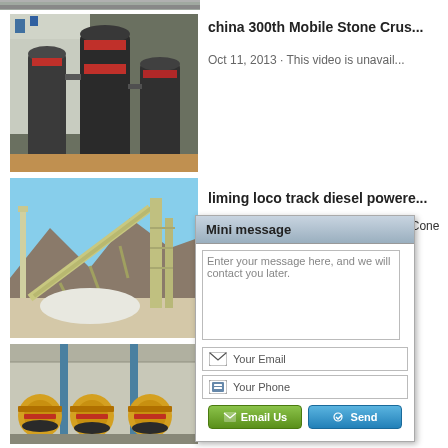[Figure (photo): Top strip of an industrial crusher machine, partially visible]
[Figure (photo): Industrial grinding mill machines with red trim in a factory setting]
[Figure (photo): Large mobile crushing/conveyor plant outdoors with mountains in background]
[Figure (photo): Yellow industrial ball mill drums in a factory building]
china 300th Mobile Stone Crus...
Oct 11, 2013 · This video is unavail...
liming loco track diesel powere...
Four in One Mobile Crusher. CS Co... Cone Crusher. Deep Rotor VSI Cru... Series Ja... li...
Mobile C...  C
Mobile Cr... ea... advanced... ny... productio... us...
[Figure (screenshot): Mini message popup dialog with text area, email field, phone field, Email Us and Send buttons]